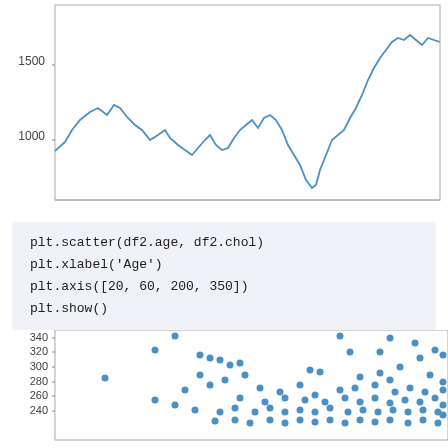[Figure (continuous-plot): A line chart showing a time series that rises from around 1000, peaks near 1500, dips, peaks again around 1550, drops sharply to around 750, then rises steeply to above 1800. Y-axis labels: 1000, 1500. X-axis is unlabeled.]
plt.scatter(df2.age, df2.chol)
plt.xlabel('Age')
plt.axis([20, 60, 200, 350])
plt.show()
[Figure (continuous-plot): A scatter plot of cholesterol (y-axis, 240-340) vs age (x-axis, partially visible). Y-axis labels visible: 340, 320, 300, 280, 260, 240. Many blue dots scattered, denser toward the right side.]